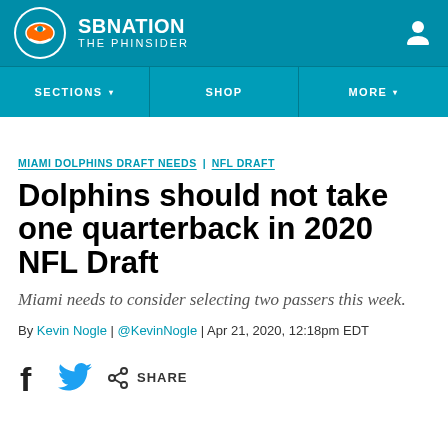SB NATION / THE PHINSIDER
MIAMI DOLPHINS DRAFT NEEDS  NFL DRAFT
Dolphins should not take one quarterback in 2020 NFL Draft
Miami needs to consider selecting two passers this week.
By Kevin Nogle | @KevinNogle | Apr 21, 2020, 12:18pm EDT